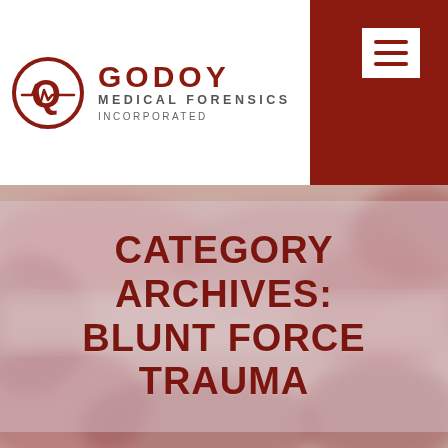[Figure (logo): Godoy Medical Forensics Incorporated logo with circular Q/heartbeat icon and text]
[Figure (other): Dark red hamburger menu navigation button on dark red background]
CATEGORY ARCHIVES: BLUNT FORCE TRAUMA
[Figure (photo): Blurred reddish-pink textured background resembling close-up tissue or stone]